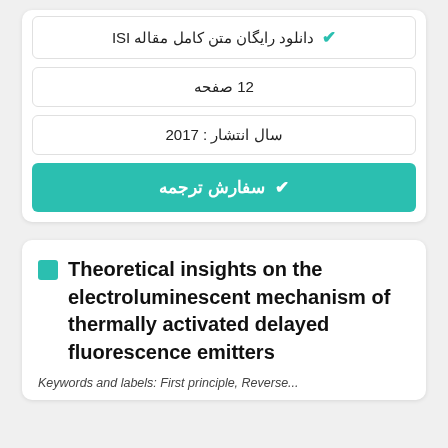✔ دانلود رایگان متن کامل مقاله ISI
12 صفحه
سال انتشار : 2017
✔ سفارش ترجمه
Theoretical insights on the electroluminescent mechanism of thermally activated delayed fluorescence emitters
Keywords and labels: First principle, Reverse...